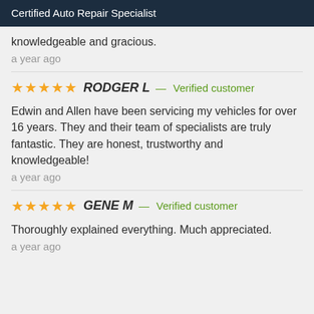Certified Auto Repair Specialist
knowledgeable and gracious.
a year ago
★★★★★ RODGER L — Verified customer
Edwin and Allen have been servicing my vehicles for over 16 years. They and their team of specialists are truly fantastic. They are honest, trustworthy and knowledgeable!
a year ago
★★★★★ GENE M — Verified customer
Thoroughly explained everything. Much appreciated.
a year ago